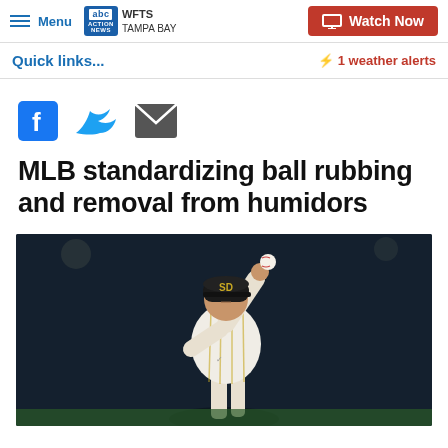Menu | ABC Action News WFTS TAMPA BAY | Watch Now
Quick links...
⚡ 1 weather alerts
[Figure (other): Social share icons: Facebook, Twitter, Email]
MLB standardizing ball rubbing and removal from humidors
[Figure (photo): San Diego Padres pitcher in white pinstripe uniform with SD cap, mid-pitch wind-up, holding baseball aloft, photographed against dark stadium background]